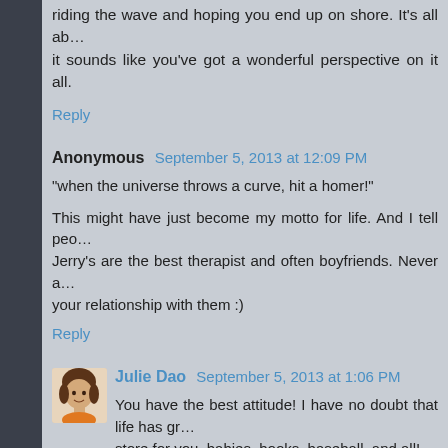riding the wave and hoping you end up on shore. It's all ab... it sounds like you've got a wonderful perspective on it all.
Reply
Anonymous  September 5, 2013 at 12:09 PM
"when the universe throws a curve, hit a homer!"
This might have just become my motto for life. And I tell peo... Jerry's are the best therapist and often boyfriends. Never a... your relationship with them :)
Reply
Julie Dao  September 5, 2013 at 1:06 PM
You have the best attitude! I have no doubt that life has gr... store for you, babies, books, baseball, and all!
Reply